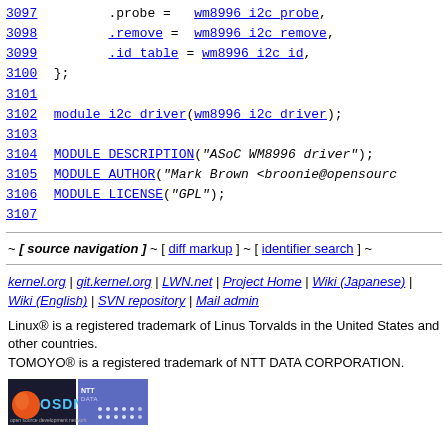3097   .probe = wm8996_i2c_probe,
3098   .remove = wm8996_i2c_remove,
3099   .id_table = wm8996_i2c_id,
3100 };
3101
3102 module_i2c_driver(wm8996_i2c_driver);
3103
3104 MODULE_DESCRIPTION("ASoC WM8996 driver");
3105 MODULE_AUTHOR("Mark Brown <broonie@opensourc
3106 MODULE_LICENSE("GPL");
3107
~ [ source navigation ] ~ [ diff markup ] ~ [ identifier search ] ~
kernel.org | git.kernel.org | LWN.net | Project Home | Wiki (Japanese) | Wiki (English) | SVN repository | Mail admin
Linux® is a registered trademark of Linus Torvalds in the United States and other countries.
TOMOYO® is a registered trademark of NTT DATA CORPORATION.
[Figure (logo): OSDN and NTT Data logo]